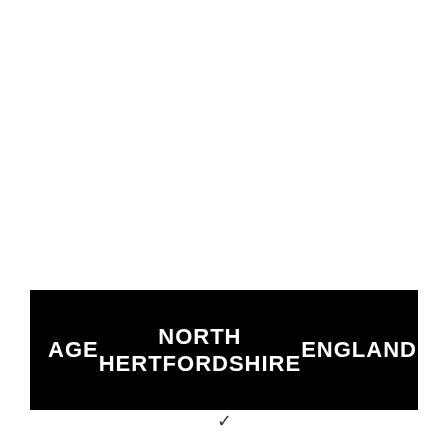| AGE | NORTH HERTFORDSHIRE | ENGLAND |
| --- | --- | --- |
v